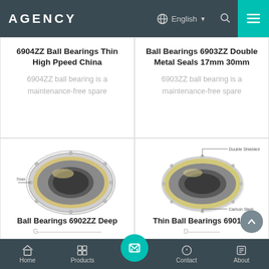AGENCY — English — Navigation bar with search and menu
6904ZZ Ball Bearings Thin High Ppeed China
6904ZZ ball bearing is a maintenance-free spare
Ball Bearings 6903ZZ Double Metal Seals 17mm 30mm
6903ZZ ball bearing is a maintenance-free spare
[Figure (photo): Photo of a 6902ZZ ball bearing shown as a metal ring bearing with label '7mm']
Ball Bearings 6902ZZ Deep
[Figure (engineering-diagram): Diagram of a ball bearing cross-section with labels 'Double Shielded' and 'Carbon Steel']
Thin Ball Bearings 6901ZZ
Home | Products | [center action button] | Contact | About